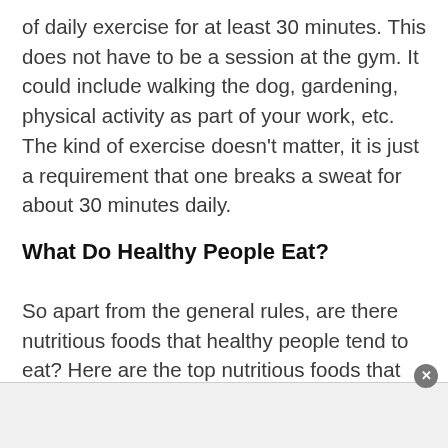of daily exercise for at least 30 minutes. This does not have to be a session at the gym. It could include walking the dog, gardening, physical activity as part of your work, etc. The kind of exercise doesn't matter, it is just a requirement that one breaks a sweat for about 30 minutes daily.
What Do Healthy People Eat?
So apart from the general rules, are there nutritious foods that healthy people tend to eat? Here are the top nutritious foods that most healthy people